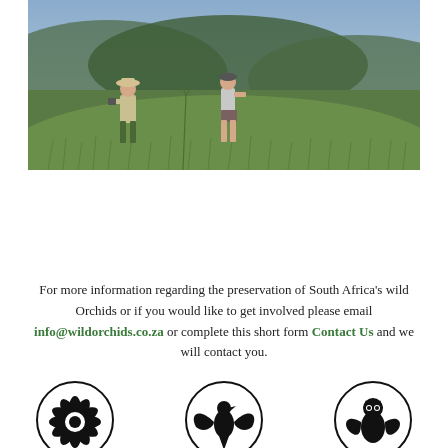[Figure (photo): Two people walking through tall grass on a hillside with mountain valley scenery in the background]
For more information regarding the preservation of South Africa's wild Orchids or if you would like to get involved please email info@wildorchids.co.za or complete this short form Contact Us and we will contact you.
[Figure (illustration): Three circular black and white logo icons side by side: left shows a protea flower silhouette, center shows a bird/eagle silhouette, right shows an owl or butterfly silhouette]